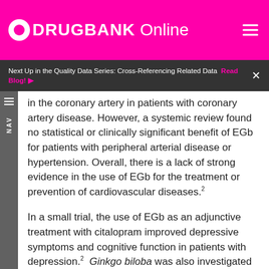DRUGBANK Online
Next Up in the Quality Data Series: Cross-Referencing Related Data  Read Blog!
in the coronary artery in patients with coronary artery disease. However, a systemic review found no statistical or clinically significant benefit of EGb for patients with peripheral arterial disease or hypertension. Overall, there is a lack of strong evidence in the use of EGb for the treatment or prevention of cardiovascular diseases.2
In a small trial, the use of EGb as an adjunctive treatment with citalopram improved depressive symptoms and cognitive function in patients with depression.2  Ginkgo biloba was also investigated as a potential treatment for antidepressant-induced sexual dysfunction.1  Another study showed EGb improving the symptoms of tardive dyskinesia. There is